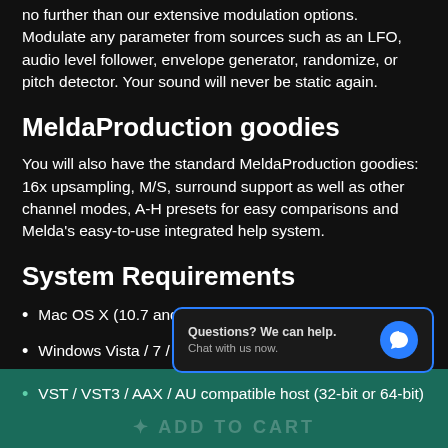no further than our extensive modulation options. Modulate any parameter from sources such as an LFO, audio level follower, envelope generator, randomize, or pitch detector. Your sound will never be static again.
MeldaProduction goodies
You will also have the standard MeldaProduction goodies: 16x upsampling, M/S, surround support as well as other channel modes, A-H presets for easy comparisons and Melda's easy-to-use integrated help system.
System Requirements
Mac OS X (10.7 and newer,
Windows Vista / 7 / 8 / 10 (32-bit or 64-bit)
[Figure (screenshot): Chat popup widget with blue border: 'Questions? We can help. Chat with us now.' with a blue circle chat icon.]
VST / VST3 / AAX / AU compatible host (32-bit or 64-bit)